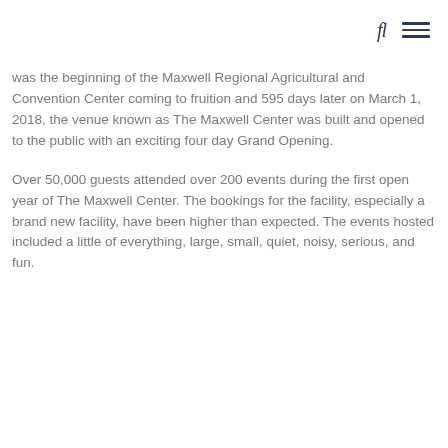fl ≡
was the beginning of the Maxwell Regional Agricultural and Convention Center coming to fruition and 595 days later on March 1, 2018, the venue known as The Maxwell Center was built and opened to the public with an exciting four day Grand Opening.
Over 50,000 guests attended over 200 events during the first open year of The Maxwell Center. The bookings for the facility, especially a brand new facility, have been higher than expected. The events hosted included a little of everything, large, small, quiet, noisy, serious, and fun.